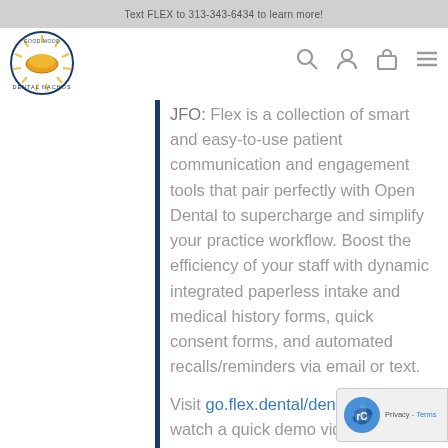Text FLEX to 313-343-6434 to learn more!
[Figure (logo): Dental Nachos circular logo with orange and yellow dental design]
JFO: Flex is a collection of smart and easy-to-use patient communication and engagement tools that pair perfectly with Open Dental to supercharge and simplify your practice workflow. Boost the efficiency of your staff with dynamic integrated paperless intake and medical history forms, quick consent forms, and automated recalls/reminders via email or text.
Visit go.flex.dental/dentalnachos to watch a quick demo video and schedule a tour of Flex.